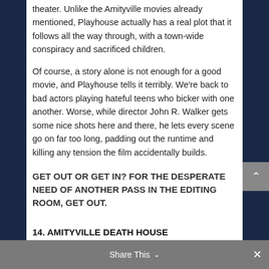theater. Unlike the Amityville movies already mentioned, Playhouse actually has a real plot that it follows all the way through, with a town-wide conspiracy and sacrificed children.
Of course, a story alone is not enough for a good movie, and Playhouse tells it terribly. We're back to bad actors playing hateful teens who bicker with one another. Worse, while director John R. Walker gets some nice shots here and there, he lets every scene go on far too long, padding out the runtime and killing any tension the film accidentally builds.
GET OUT OR GET IN? FOR THE DESPERATE NEED OF ANOTHER PASS IN THE EDITING ROOM, GET OUT.
Share This
14. AMITYVILLE DEATH HOUSE